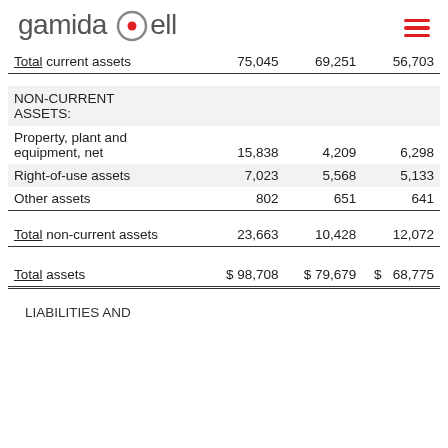gamida cell
|  | Col1 | Col2 | Col3 |
| --- | --- | --- | --- |
| Total current assets | 75,045 | 69,251 | 56,703 |
| NON-CURRENT ASSETS: |  |  |  |
| Property, plant and equipment, net | 15,838 | 4,209 | 6,298 |
| Right-of-use assets | 7,023 | 5,568 | 5,133 |
| Other assets | 802 | 651 | 641 |
| Total non-current assets | 23,663 | 10,428 | 12,072 |
| Total assets | $98,708 | $79,679 | $  68,775 |
LIABILITIES AND